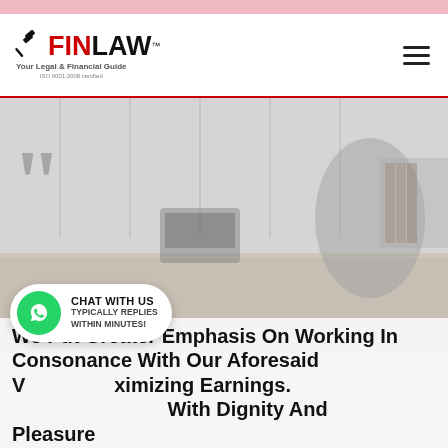[Figure (logo): FINLAW logo with gavel icon, tagline 'Your Legal & Financial Guide', ISO 9001:2008 certified]
[Figure (photo): Office interior background with desk, chairs, phone, windows showing city view]
We Put Greater Emphasis On Working In Consonance With Our Aforesaid Values & Maximizing Earnings. We Treat Clients With Dignity And Pleasure.
CHAT WITH US
TYPICALLY REPLIES
WITHIN MINUTES!